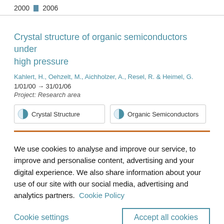2000 ▪ 2006
Crystal structure of organic semiconductors under high pressure
Kahlert, H., Oehzelt, M., Aichholzer, A., Resel, R. & Heimel, G.
1/01/00 → 31/01/06
Project: Research area
Crystal Structure
Organic Semiconductors
We use cookies to analyse and improve our service, to improve and personalise content, advertising and your digital experience. We also share information about your use of our site with our social media, advertising and analytics partners.  Cookie Policy
Cookie settings
Accept all cookies